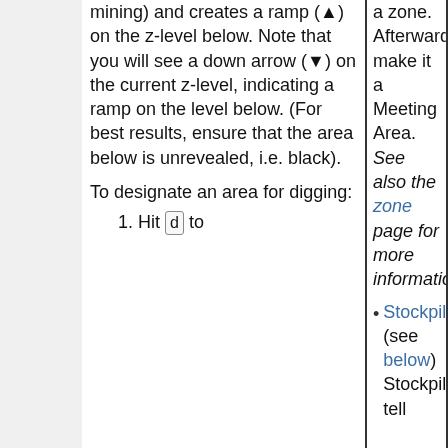mining) and creates a ramp (▲) on the z-level below. Note that you will see a down arrow (▼) on the current z-level, indicating a ramp on the level below. (For best results, ensure that the area below is unrevealed, i.e. black).
To designate an area for digging:
1. Hit d to
a zone. Afterwards make it a Meeting Area. See also the zone page for more information.
• Stockpiles (see below) Stockpiles tell